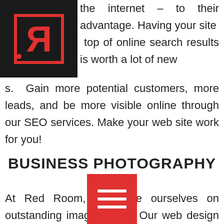[Figure (logo): Red Room logo: reversed R letter in red on black square background]
the internet – to their advantage. Having your site top of online search results is worth a lot of new s. Gain more potential customers, more leads, and be more visible online through our SEO services. Make your web site work for you!
BUSINESS PHOTOGRAPHY
At Red Room, we pride ourselves on outstanding image quality. Our web design and branding customers have the option to utilize our in-house photography service to enhance their design projects at a fraction of the cost of hiring a freelance photographer. Rest assured our photography services a uitely top-notch with the highest end equipment a